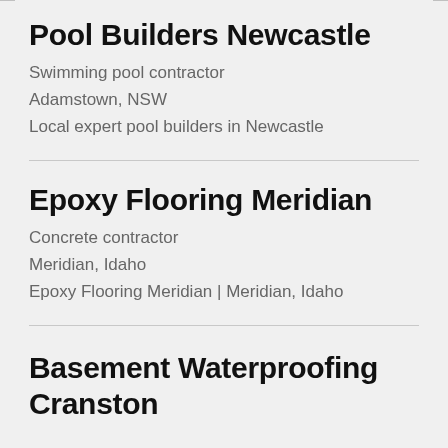Pool Builders Newcastle
Swimming pool contractor
Adamstown, NSW
Local expert pool builders in Newcastle
Epoxy Flooring Meridian
Concrete contractor
Meridian, Idaho
Epoxy Flooring Meridian | Meridian, Idaho
Basement Waterproofing Cranston